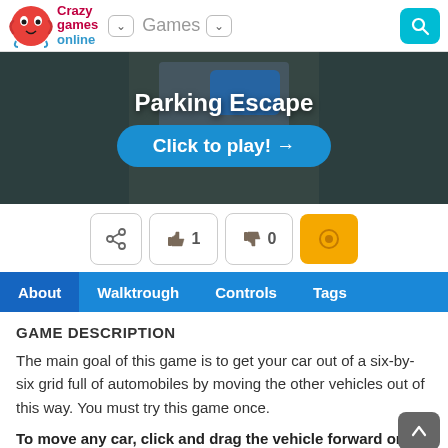[Figure (screenshot): CrazyGamesOnline navigation bar with logo, Games dropdown, and search button]
[Figure (screenshot): Parking Escape game hero banner with dark background, game thumbnail, title text 'Parking Escape' and blue 'Click to play!' button]
[Figure (screenshot): Action bar with share button, thumbs up count 1, thumbs down count 0, and yellow favorite button]
[Figure (screenshot): Tab navigation bar with About, Walktrough, Controls, Tags tabs on blue background]
GAME DESCRIPTION
The main goal of this game is to get your car out of a six-by-six grid full of automobiles by moving the other vehicles out of this way. You must try this game once.
To move any car, click and drag the vehicle forward or